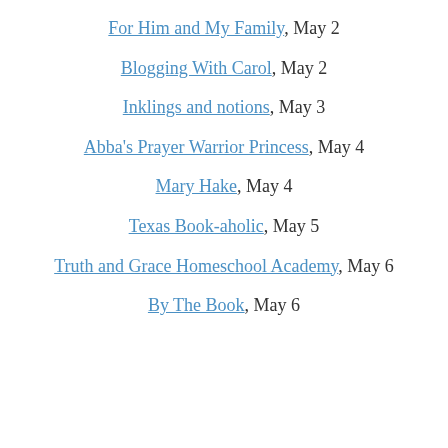For Him and My Family, May 2
Blogging With Carol, May 2
Inklings and notions, May 3
Abba's Prayer Warrior Princess, May 4
Mary Hake, May 4
Texas Book-aholic, May 5
Truth and Grace Homeschool Academy, May 6
By The Book, May 6